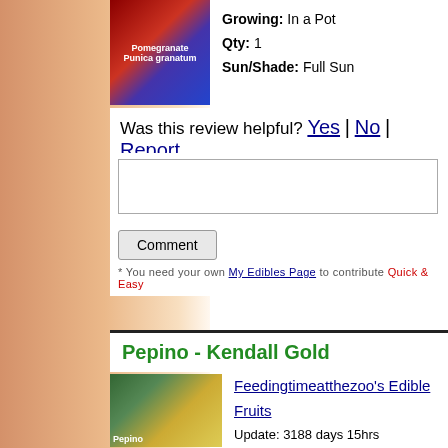[Figure (photo): Pomegranate product image with book/seed packet cover]
Growing: In a Pot
Qty: 1
Sun/Shade: Full Sun
Was this review helpful? Yes | No | Report
Comment (textarea + button)
* You need your own My Edibles Page to contribute Quick & Easy
Pepino - Kendall Gold
[Figure (photo): Pepino Kendall Gold fruit image]
Feedingtimeatthezoo's Edible Fruits
Update: 3188 days 15hrs
Growing: In a Pot
Qty: 1
Sun/Shade: Full Sun